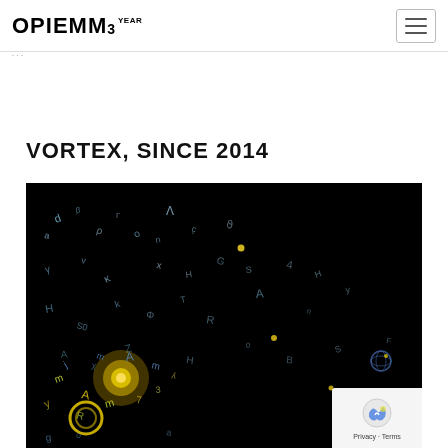OPIEMME | Hamburger menu
breadcrumb navigation
VORTEX, SINCE 2014
[Figure (photo): Dark background artwork showing scattered glowing letters and characters in blue, yellow and white tones, with a bright explosion of colorful fragments in the lower-left area]
Privacy · Terms